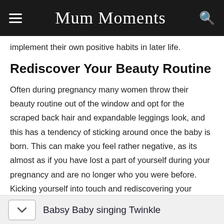Mum Moments
implement their own positive habits in later life.
Rediscover Your Beauty Routine
Often during pregnancy many women throw their beauty routine out of the window and opt for the scraped back hair and expandable leggings look, and this has a tendency of sticking around once the baby is born. This can make you feel rather negative, as its almost as if you have lost a part of yourself during your pregnancy and are no longer who you were before. Kicking yourself into touch and rediscovering your beauty routine will make you feel so much more confident and assured, and taking some time to do thing that exclusively benefits you will be wonderful for
Babsy Baby singing Twinkle